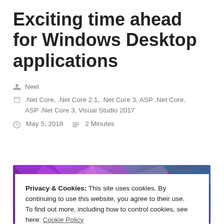Exciting time ahead for Windows Desktop applications
Neel
.Net Core, .Net Core 2.1, .Net Core 3, ASP .Net Core, ASP .Net Core 3, Visual Studio 2017
May 5, 2018   2 Minutes
[Figure (photo): Colorful geometric abstract background image with purple, teal, grey, pink polygonal shapes]
Privacy & Cookies: This site uses cookies. By continuing to use this website, you agree to their use. To find out more, including how to control cookies, see here: Cookie Policy
Close and accept